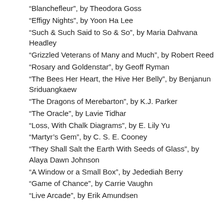“Blanchefleur”, by Theodora Goss
“Effigy Nights”, by Yoon Ha Lee
“Such & Such Said to So & So”, by Maria Dahvana Headley
“Grizzled Veterans of Many and Much”, by Robert Reed
“Rosary and Goldenstar”, by Geoff Ryman
“The Bees Her Heart, the Hive Her Belly”, by Benjanun Sriduangkaew
“The Dragons of Merebarton”, by K.J. Parker
“The Oracle”, by Lavie Tidhar
“Loss, With Chalk Diagrams”, by E. Lily Yu
“Martyr’s Gem”, by C. S. E. Cooney
“They Shall Salt the Earth With Seeds of Glass”, by Alaya Dawn Johnson
“A Window or a Small Box”, by Jedediah Berry
“Game of Chance”, by Carrie Vaughn
“Live Arcade”, by Erik Amundsen